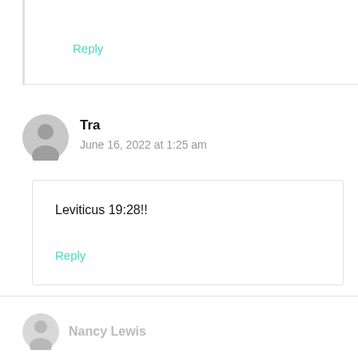Reply
Tra
June 16, 2022 at 1:25 am
Leviticus 19:28!!
Reply
Nancy Lewis